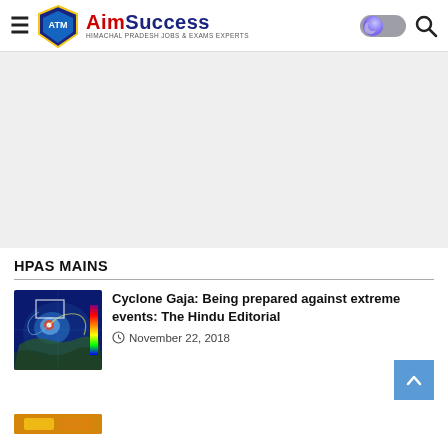AimSuccess — Himachal Pradesh Jobs & Exams Experts
[Figure (other): Gray advertisement/banner area]
HPAS MAINS
[Figure (photo): Cyclone Gaja satellite weather map thumbnail]
Cyclone Gaja: Being prepared against extreme events: The Hindu Editorial
November 22, 2018